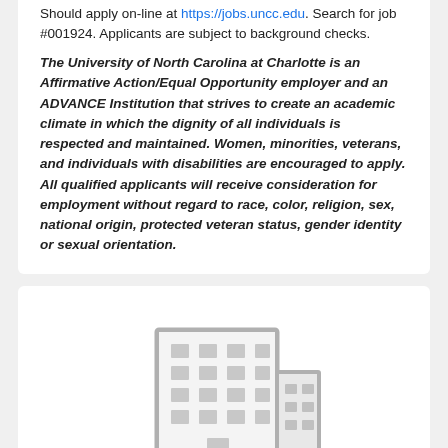Should apply on-line at https://jobs.uncc.edu. Search for job #001924. Applicants are subject to background checks.
The University of North Carolina at Charlotte is an Affirmative Action/Equal Opportunity employer and an ADVANCE Institution that strives to create an academic climate in which the dignity of all individuals is respected and maintained. Women, minorities, veterans, and individuals with disabilities are encouraged to apply. All qualified applicants will receive consideration for employment without regard to race, color, religion, sex, national origin, protected veteran status, gender identity or sexual orientation.
[Figure (illustration): Gray outline icon of a multi-story office/university building]
University of North Carolina at Charlotte